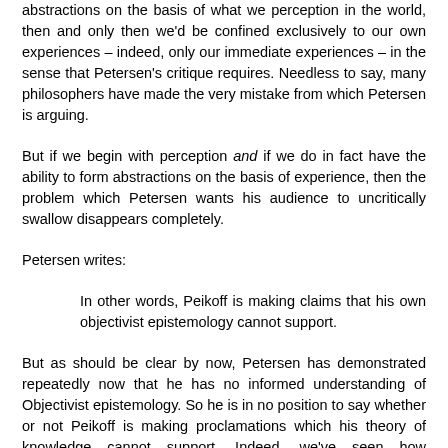abstractions on the basis of what we perception in the world, then and only then we'd be confined exclusively to our own experiences – indeed, only our immediate experiences – in the sense that Petersen's critique requires. Needless to say, many philosophers have made the very mistake from which Petersen is arguing.
But if we begin with perception and if we do in fact have the ability to form abstractions on the basis of experience, then the problem which Petersen wants his audience to uncritically swallow disappears completely.
Petersen writes:
In other words, Peikoff is making claims that his own objectivist epistemology cannot support.
But as should be clear by now, Petersen has demonstrated repeatedly now that he has no informed understanding of Objectivist epistemology. So he is in no position to say whether or not Peikoff is making proclamations which his theory of knowledge cannot support. Indeed, we've seen how Petersen's understanding of Objectivist epistemology is